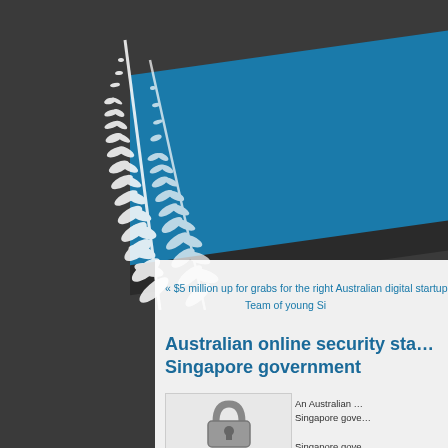[Figure (illustration): Website header with blue diagonal banner, dark background, and white fern/plant illustration on the left side]
« $5 million up for grabs for the right Australian digital startup
 Team of young Si
Australian online security sta… Singapore government
An Australian … Singapore gove…

Singapore gove…
[Figure (photo): An open padlock illustration in grayscale]